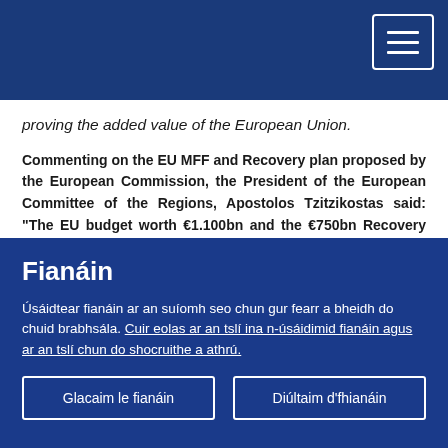proving the added value of the European Union.
Commenting on the EU MFF and Recovery plan proposed by the European Commission, the President of the European Committee of the Regions, Apostolos Tzitzikostas said: "The EU budget worth €1.100bn and the €750bn Recovery Plan focus on the safety, recovery and resilience of regions, cities and villages across Europe and include the key elements demanded by the European Committee of Regions. They also provide a clear answer to populists and euro-sceptics, proving the added value of the European Union during these
Fianáin
Úsáidtear fianáin ar an suíomh seo chun gur fearr a bheidh do chuid brabhsála. Cuir eolas ar an tslí ina n-úsáidimid fianáin agus ar an tslí chun do shocruithe a athrú.
Glacaim le fianáin
Diúltaim d'fhianáin